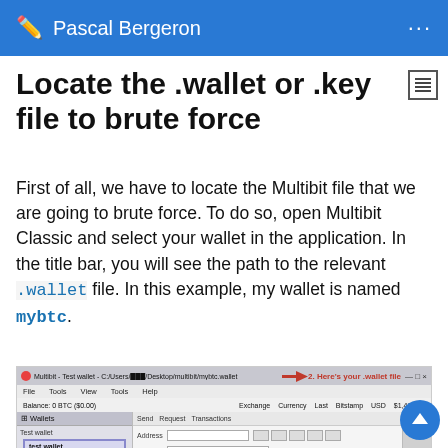Pascal Bergeron
Locate the .wallet or .key file to brute force
First of all, we have to locate the Multibit file that we are going to brute force. To do so, open Multibit Classic and select your wallet in the application. In the title bar, you will see the path to the relevant .wallet file. In this example, my wallet is named mybtc.
[Figure (screenshot): Screenshot of Multibit application showing title bar with wallet file path highlighted by a red arrow labeled '2. Here's your .wallet file', and a red up arrow pointing to the selected wallet in the left panel labeled '1. Select your wallet']